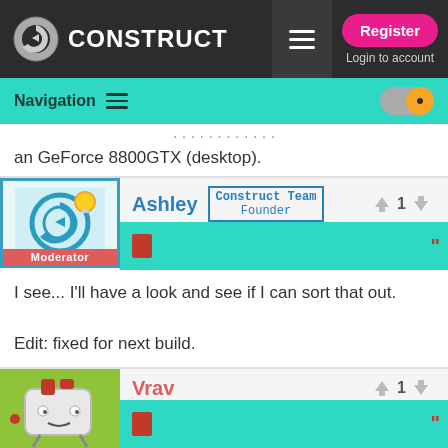Construct — Register | Login to account
Navigation
an GeForce 8800GTX (desktop).
Ashley — Construct Team Founder — Moderator — 1 vote
I see... I'll have a look and see if I can sort that out.

Edit: fixed for next build.
Vrav — 1 vote
Motion Blur off and x20 move at the same speed, but x5 moves about twice